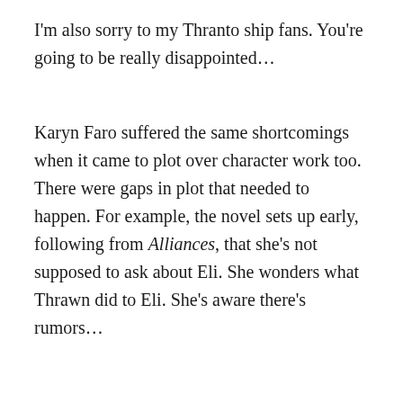I'm also sorry to my Thranto ship fans. You're going to be really disappointed...
Karyn Faro suffered the same shortcomings when it came to plot over character work too. There were gaps in plot that needed to happen. For example, the novel sets up early, following from Alliances, that she's not supposed to ask about Eli. She wonders what Thrawn did to Eli. She's aware there's rumors...